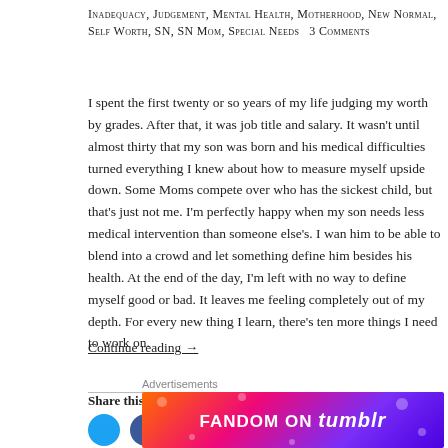Inadequacy, Judgement, Mental Health, Motherhood, New Normal, Self Worth, SN, SN Mom, Special Needs  3 Comments
I spent the first twenty or so years of my life judging my worth by grades. After that, it was job title and salary. It wasn't until almost thirty that my son was born and his medical difficulties turned everything I knew about how to measure myself upside down. Some Moms compete over who has the sickest child, but that's just not me. I'm perfectly happy when my son needs less medical intervention than someone else's. I want him to be able to blend into a crowd and let something define him besides his health. At the end of the day, I'm left with no way to define myself good or bad. It leaves me feeling completely out of my depth. For every new thing I learn, there's ten more things I need to work on.
Continue reading →
Share this:
[Figure (screenshot): Advertisement banner for Fandom on Tumblr with colorful gradient background]